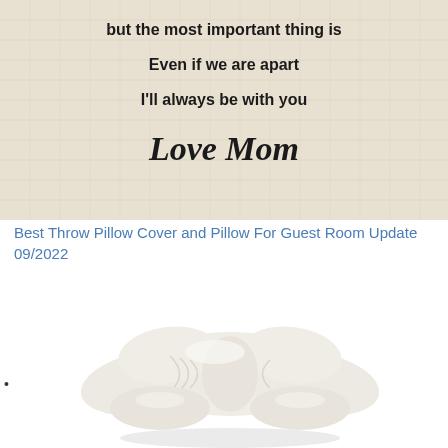[Figure (photo): A decorative throw pillow with text: 'but the most important thing is / Even if we are apart / I'll always be with you / Love Mom' printed on a linen-textured fabric]
Best Throw Pillow Cover and Pillow For Guest Room Update 09/2022
[Figure (photo): A white ergonomic cervical memory foam pillow with a butterfly/contour shape designed for neck support, shown on a white background]